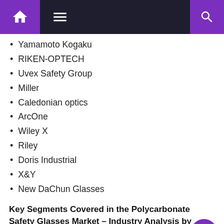Navigation bar with home, menu, and search icons
Yamamoto Kogaku
RIKEN-OPTECH
Uvex Safety Group
Miller
Caledonian optics
ArcOne
Wiley X
Riley
Doris Industrial
X&Y
New DaChun Glasses
Key Segments Covered in the Polycarbonate Safety Glasses Market – Industry Analysis by Types, Applications and Regions:
Polycarbonate Safety Glasses Market – Outlook Types